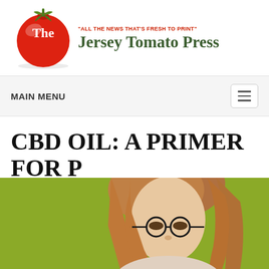[Figure (logo): The Jersey Tomato Press logo with red tomato image and tagline 'ALL THE NEWS THAT'S FRESH TO PRINT']
MAIN MENU
CBD OIL: A PRIMER FOR [PAIN] RELIEF
[Figure (photo): Woman with red/auburn hair against olive green background, partially cropped at bottom of page]